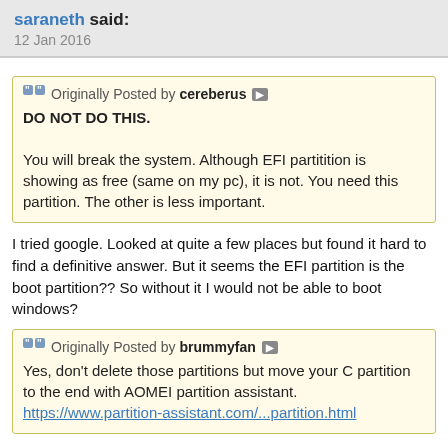saraneth said:
12 Jan 2016
Originally Posted by cereberus
DO NOT DO THIS.

You will break the system. Although EFI partitition is showing as free (same on my pc), it is not. You need this partition. The other is less important.
I tried google. Looked at quite a few places but found it hard to find a definitive answer. But it seems the EFI partition is the boot partition?? So without it I would not be able to boot windows?
Originally Posted by brummyfan
Yes, don't delete those partitions but move your C partition to the end with AOMEI partition assistant.
https://www.partition-assistant.com/...partition.html
Is there any reason I should move it to the end?